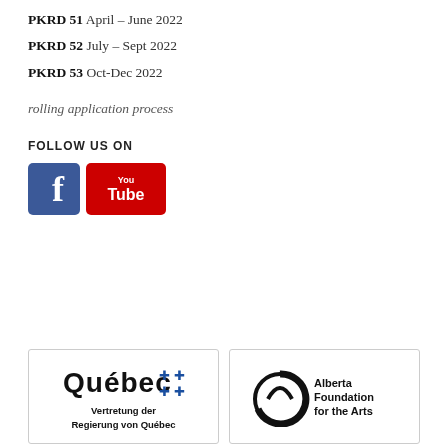PKRD 51 April – June 2022
PKRD 52 July – Sept 2022
PKRD 53 Oct-Dec 2022
rolling application process
FOLLOW US ON
[Figure (logo): Facebook logo icon (blue square with white f)]
[Figure (logo): YouTube logo icon (red rectangle with white YouTube text)]
[Figure (logo): Québec government logo with fleur-de-lis symbols and text 'Vertretung der Regierung von Québec']
[Figure (logo): Alberta Foundation for the Arts logo with circular graphic and text]